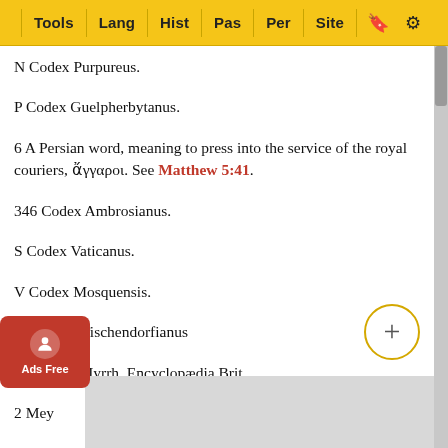Tools | Lang | Hist | Pas | Per | Site
N Codex Purpureus.
P Codex Guelpherbytanus.
6 A Persian word, meaning to press into the service of the royal couriers, ἄγγαροι. See Matthew 5:41.
346 Codex Ambrosianus.
S Codex Vaticanus.
V Codex Mosquensis.
FC Codex Tischendorfianus
1 See Art. Myrrh, Encyclopædia Brit.
2 Mey...at it